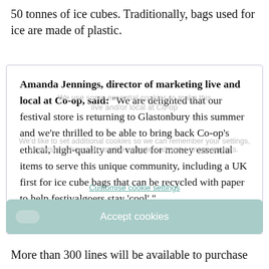50 tonnes of ice cubes. Traditionally, bags used for ice are made of plastic.
Amanda Jennings, director of marketing live and local at Co-op, said: “We are delighted that our festival store is returning to Glastonbury this summer and we’re thrilled to be able to bring back Co-op’s ethical, high-quality and value for money essential items to serve this unique community, including a UK first for ice cube bags that can be recycled with paper to help festivalgoers stay ‘cool’.”
More than 300 lines will be available to purchase